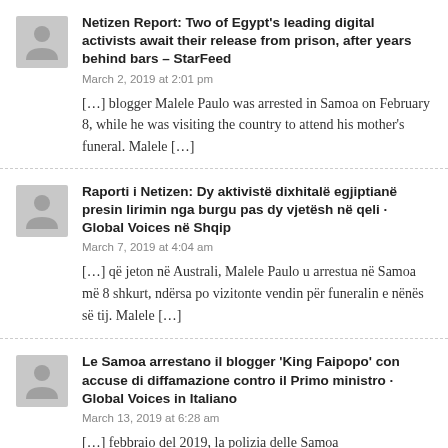[Figure (illustration): Grey avatar placeholder icon]
Netizen Report: Two of Egypt's leading digital activists await their release from prison, after years behind bars – StarFeed
March 2, 2019 at 2:01 pm
[…] blogger Malele Paulo was arrested in Samoa on February 8, while he was visiting the country to attend his mother's funeral. Malele […]
[Figure (illustration): Grey avatar placeholder icon]
Raporti i Netizen: Dy aktivistë dixhitalë egjiptianë presin lirimin nga burgu pas dy vjetësh në qeli · Global Voices në Shqip
March 7, 2019 at 4:04 am
[…] që jeton në Australi, Malele Paulo u arrestua në Samoa më 8 shkurt, ndërsa po vizitonte vendin për funeralin e nënës së tij. Malele […]
[Figure (illustration): Grey avatar placeholder icon]
Le Samoa arrestano il blogger 'King Faipopo' con accuse di diffamazione contro il Primo ministro · Global Voices in Italiano
March 13, 2019 at 6:28 am
[…] febbraio del 2019, la polizia delle Samoa